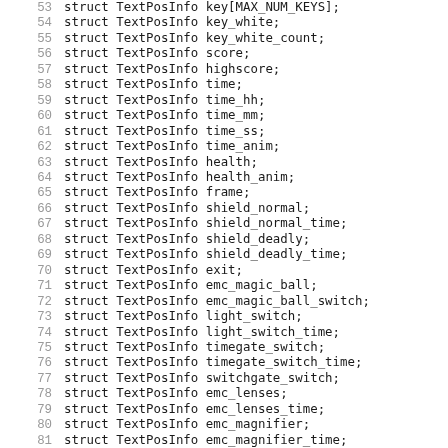53  struct TextPosInfo key[MAX_NUM_KEYS];
54  struct TextPosInfo key_white;
55  struct TextPosInfo key_white_count;
56  struct TextPosInfo score;
57  struct TextPosInfo highscore;
58  struct TextPosInfo time;
59  struct TextPosInfo time_hh;
60  struct TextPosInfo time_mm;
61  struct TextPosInfo time_ss;
62  struct TextPosInfo time_anim;
63  struct TextPosInfo health;
64  struct TextPosInfo health_anim;
65  struct TextPosInfo frame;
66  struct TextPosInfo shield_normal;
67  struct TextPosInfo shield_normal_time;
68  struct TextPosInfo shield_deadly.
69  struct TextPosInfo shield_deadly_time;
70  struct TextPosInfo exit;
71  struct TextPosInfo emc_magic_ball;
72  struct TextPosInfo emc_magic_ball_switch;
73  struct TextPosInfo light_switch;
74  struct TextPosInfo light_switch_time;
75  struct TextPosInfo timegate_switch;
76  struct TextPosInfo timegate_switch_time;
77  struct TextPosInfo switchgate_switch;
78  struct TextPosInfo emc_lenses;
79  struct TextPosInfo emc_lenses_time;
80  struct TextPosInfo emc_magnifier;
81  struct TextPosInfo emc_magnifier_time;
82  struct TextPosInfo balloon_switch;
83  struct TextPosInfo dynabomb_number;
84  struct TextPosInfo dynabomb_size;
85  struct TextPosInfo ...